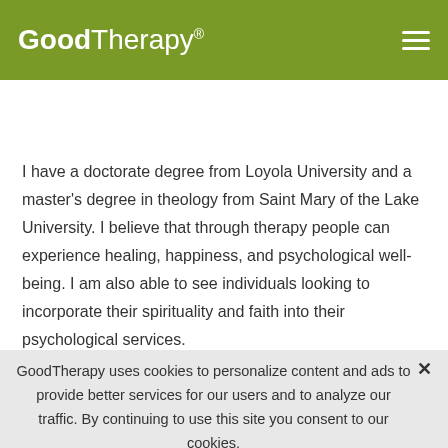GoodTherapy®
[Figure (screenshot): GoodTherapy website header with logo and hamburger menu on olive green background, and a search bar below with 'FIND A THERAPIST' dropdown and 'Enter ZIP or City' input with location pin icon and orange search button]
I have a doctorate degree from Loyola University and a master's degree in theology from Saint Mary of the Lake University. I believe that through therapy people can experience healing, happiness, and psychological well-being. I am also able to see individuals looking to incorporate their spirituality and faith into their psychological services.
SERVICES I PROVIDE
GoodTherapy uses cookies to personalize content and ads to provide better services for our users and to analyze our traffic. By continuing to use this site you consent to our cookies.